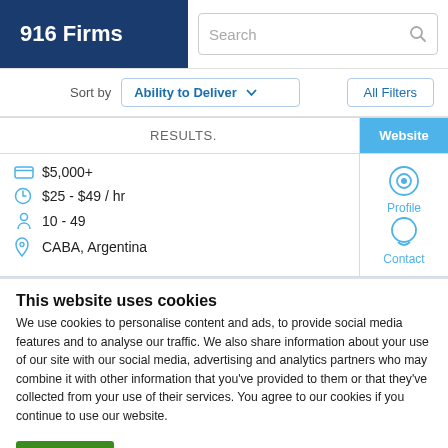916 Firms
Search
Sort by  Ability to Deliver  All Filters
RESULTS.  Website
$5,000+  $25 - $49 / hr  10 - 49  CABA, Argentina  Profile  Contact
This website uses cookies
We use cookies to personalise content and ads, to provide social media features and to analyse our traffic. We also share information about your use of our site with our social media, advertising and analytics partners who may combine it with other information that you've provided to them or that they've collected from your use of their services. You agree to our cookies if you continue to use our website.
Close  Show details